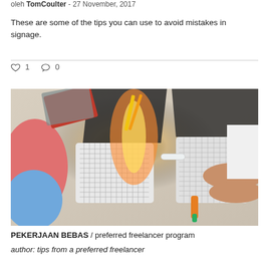oleh TomCoulter - 27 November, 2017
These are some of the tips you can use to avoid mistakes in signage.
♡ 1   ○ 0
[Figure (photo): Top-down view of two people working on laptops on a desk with notebooks and markers, warm orange/green lighting in the center.]
PEKERJAAN BEBAS / preferred freelancer program
author: tips from a preferred freelancer